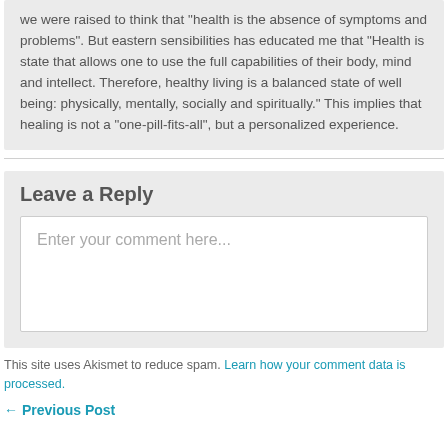we were raised to think that "health is the absence of symptoms and problems". But eastern sensibilities has educated me that "Health is state that allows one to use the full capabilities of their body, mind and intellect. Therefore, healthy living is a balanced state of well being: physically, mentally, socially and spiritually." This implies that healing is not a "one-pill-fits-all", but a personalized experience.
Leave a Reply
Enter your comment here...
This site uses Akismet to reduce spam. Learn how your comment data is processed.
← Previous Post